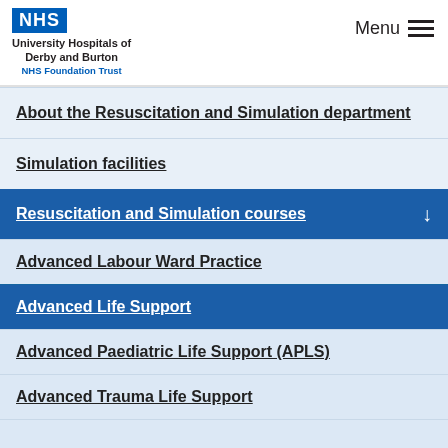NHS — University Hospitals of Derby and Burton NHS Foundation Trust | Menu
About the Resuscitation and Simulation department
Simulation facilities
Resuscitation and Simulation courses
Advanced Labour Ward Practice
Advanced Life Support
Advanced Paediatric Life Support (APLS)
Advanced Trauma Life Support
Surgical Skills
Care of the Critically ill Surgical Patient